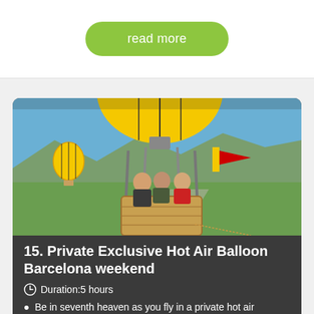read more
[Figure (photo): Hot air balloon ride photo: three people smiling in a wicker basket of a large yellow hot air balloon, with another yellow balloon visible in the background, green fields and mountains in the distance, blue sky.]
15. Private Exclusive Hot Air Balloon Barcelona weekend
Duration:5 hours
Be in seventh heaven as you fly in a private hot air